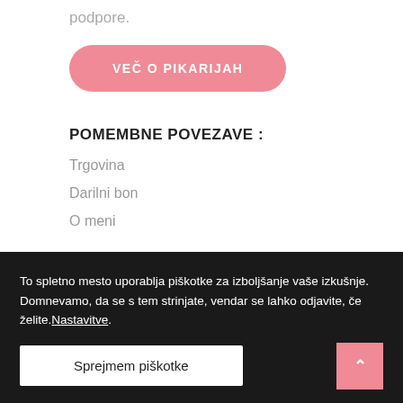podpore.
VEČ O PIKARIJAH
POMEMBNE POVEZAVE :
Trgovina
Darilni bon
O meni
To spletno mesto uporablja piškotke za izboljšanje vaše izkušnje. Domnevamo, da se s tem strinjate, vendar se lahko odjavite, če želite.Nastavitve.
Sprejmem piškotke